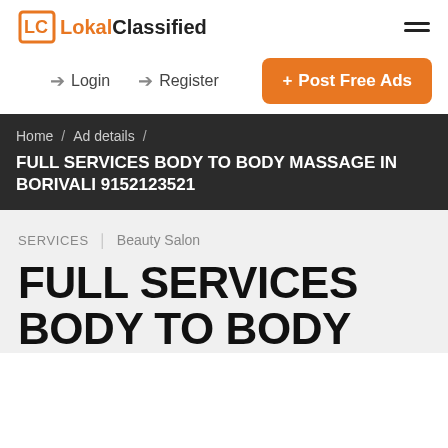LC | LokalClassified
Login   Register   + Post Free Ads
Home / Ad details / FULL SERVICES BODY TO BODY MASSAGE IN BORIVALI 9152123521
SERVICES   Beauty Salon
FULL SERVICES BODY TO BODY